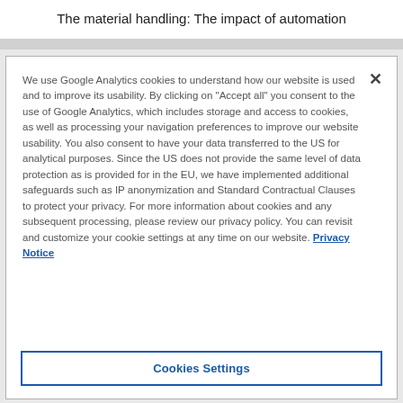The material handling: The impact of automation
We use Google Analytics cookies to understand how our website is used and to improve its usability. By clicking on "Accept all" you consent to the use of Google Analytics, which includes storage and access to cookies, as well as processing your navigation preferences to improve our website usability. You also consent to have your data transferred to the US for analytical purposes. Since the US does not provide the same level of data protection as is provided for in the EU, we have implemented additional safeguards such as IP anonymization and Standard Contractual Clauses to protect your privacy. For more information about cookies and any subsequent processing, please review our privacy policy. You can revisit and customize your cookie settings at any time on our website. Privacy Notice
Cookies Settings